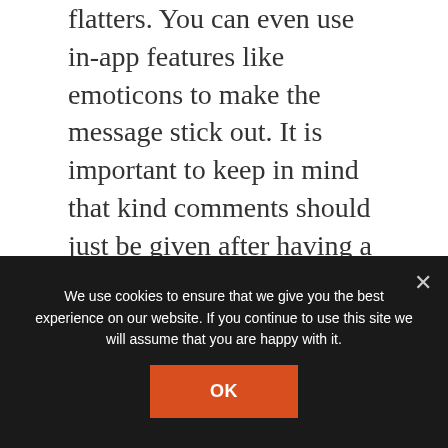flatters. You can even use in-app features like emoticons to make the message stick out. It is important to keep in mind that kind comments should just be given after having a person responds to that – in any other case, you risk looking like a creep.
[Figure (photo): Partial photo of a person with dark hair, partially visible, with a red object in the background, cropped at the bottom]
We use cookies to ensure that we give you the best experience on our website. If you continue to use this site we will assume that you are happy with it.